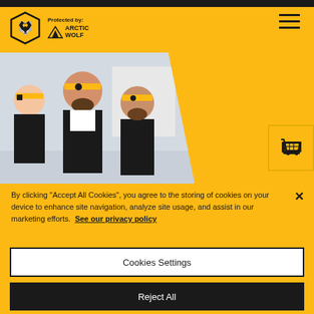[Figure (logo): Wolverhampton Wanderers FC crest logo (black and gold wolf head in hexagonal frame) and Arctic Wolf logo with text 'Protected by: ARCTIC WOLF']
[Figure (photo): Three men wearing Wolverhampton Wanderers black training jackets and gold headbands with the Wolves crest, standing together smiling]
[Figure (other): Shopping cart icon on right side]
By clicking “Accept All Cookies”, you agree to the storing of cookies on your device to enhance site navigation, analyze site usage, and assist in our marketing efforts. See our privacy policy
Cookies Settings
Reject All